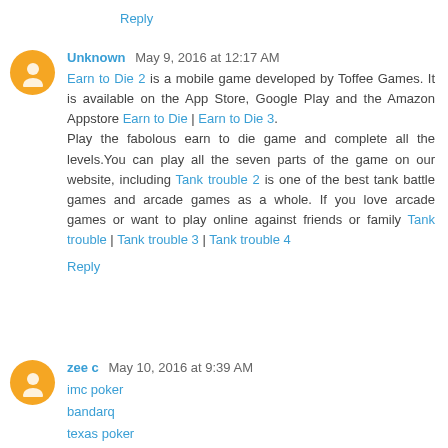Reply
Unknown  May 9, 2016 at 12:17 AM
Earn to Die 2 is a mobile game developed by Toffee Games. It is available on the App Store, Google Play and the Amazon Appstore Earn to Die | Earn to Die 3. Play the fabolous earn to die game and complete all the levels.You can play all the seven parts of the game on our website, including Tank trouble 2 is one of the best tank battle games and arcade games as a whole. If you love arcade games or want to play online against friends or family Tank trouble | Tank trouble 3 | Tank trouble 4
Reply
zee c  May 10, 2016 at 9:39 AM
imc poker
bandarq
texas poker